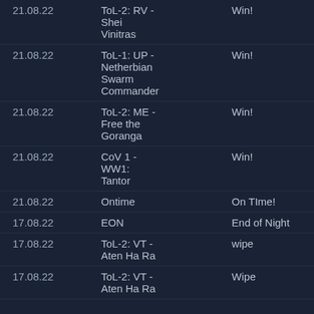| Date | Activity | Result |
| --- | --- | --- |
| 21.08.22 | ToL-2: RV - Shei Vinitras | Win! |
| 21.08.22 | ToL-1: UP - Netherbian Swarm Commander | Win! |
| 21.08.22 | ToL-2: ME - Free the Goranga | Win! |
| 21.08.22 | CoV 1 - WW1: Tantor | Win! |
| 21.08.22 | Ontime | On TIme! |
| 17.08.22 | EON | End of Night |
| 17.08.22 | ToL-2: VT - Aten Ha Ra | wipe |
| 17.08.22 | ToL-2: VT - Aten Ha Ra | Wipe |